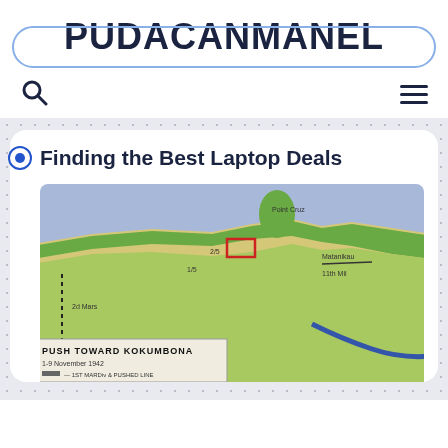PUDACANMANEL
[Figure (screenshot): Website screenshot showing PUDACANMANEL blog header with search icon and hamburger menu, article titled 'Finding the Best Laptop Deals' with a historical military map image of 'Push Toward Kokumbona 1-9 November 1942']
Finding the Best Laptop Deals
PUSH TOWARD KOKUMBONA 1-9 November 1942